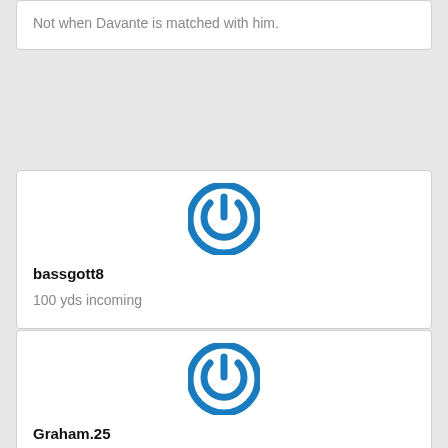Not when Davante is matched with him.
[Figure (illustration): Blue power button icon / avatar for user bassgott8]
bassgott8
100 yds incoming
[Figure (illustration): Blue power button icon / avatar for user Graham.25]
Graham.25
Much respect to Davonte